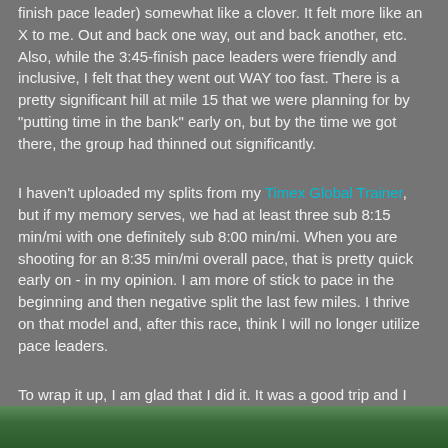finish pace leader) somewhat like a clover. It felt more like an X to me. Out and back one way, out and back another, etc. Also, while the 3:45-finish pace leaders were friendly and inclusive, I felt that they went out WAY too fast. There is a pretty significant hill at mile 15 that we were planning for by "putting time in the bank" early on, but by the time we got there, the group had thinned out significantly.
I haven't uploaded my splits from my Timex Global Trainer, but if my memory serves, we had at least three sub 8:15 min/mi with one definitely sub 8:00 min/mi. When you are shooting for an 8:35 min/mi overall pace, that is pretty quick early on - in my opinion. I am more of stick to pace in the beginning and then negative split the last few miles. I thrive on that model and, after this race, think I will no longer utilize pace leaders.
To wrap it up, I am glad that I did it. It was a good trip and I had another great race with Ted. Having a running and training partner is awesome. Enjoy! It is good to be back with you all.
[Figure (photo): Green foliage/nature photo strip at the bottom of the page]